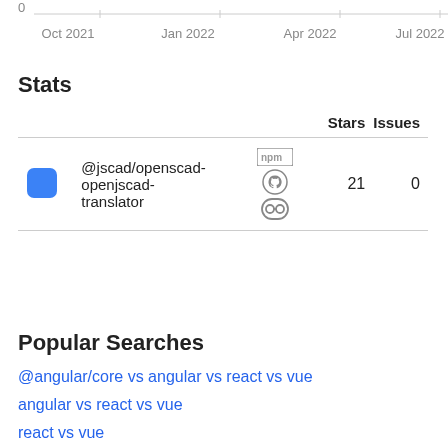[Figure (continuous-plot): Bottom portion of a line chart showing x-axis with date labels: Oct 2021, Jan 2022, Apr 2022, Jul 2022]
Stats
|  |  |  | Stars | Issues |
| --- | --- | --- | --- | --- |
|  | @jscad/openscad-openjscad-translator | [npm][github][link] | 21 | 0 |
Popular Searches
@angular/core vs angular vs react vs vue
angular vs react vs vue
react vs vue